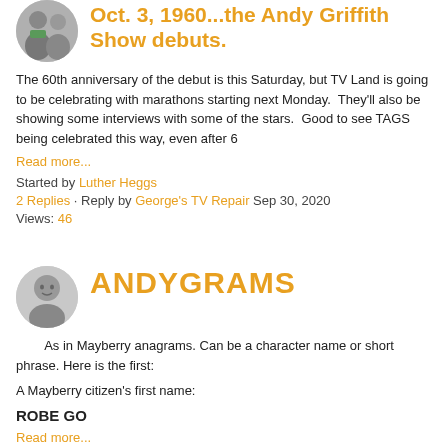Oct. 3, 1960...the Andy Griffith Show debuts.
The 60th anniversary of the debut is this Saturday, but TV Land is going to be celebrating with marathons starting next Monday. They'll also be showing some interviews with some of the stars. Good to see TAGS being celebrated this way, even after 6
Read more...
Started by Luther Heggs
2 Replies · Reply by George's TV Repair Sep 30, 2020
Views: 46
ANDYGRAMS
As in Mayberry anagrams. Can be a character name or short phrase. Here is the first:
A Mayberry citizen's first name:
ROBE GO
Read more...
Started by Mayor Pike in General Discussion
332 Replies · Reply by Hal Sep 18, 2020